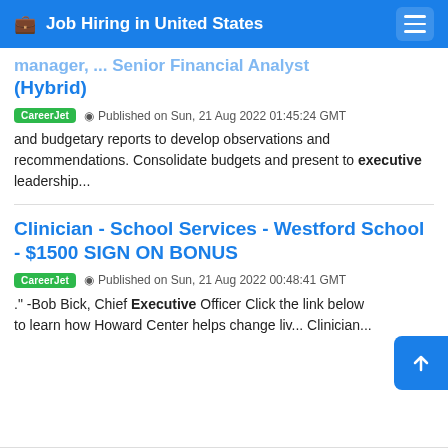Job Hiring in United States
Manager, ... Senior Financial Analyst (Hybrid)
CareerJet  Published on Sun, 21 Aug 2022 01:45:24 GMT
and budgetary reports to develop observations and recommendations. Consolidate budgets and present to executive leadership...
Clinician - School Services - Westford School - $1500 SIGN ON BONUS
CareerJet  Published on Sun, 21 Aug 2022 00:48:41 GMT
."-Bob Bick, Chief Executive Officer Click the link below to learn how Howard Center helps change lives Clinician...